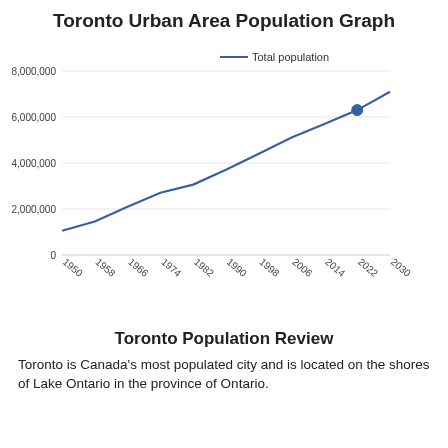Toronto Urban Area Population Graph
[Figure (line-chart): Toronto Urban Area Population Graph]
Toronto Population Review
Toronto is Canada's most populated city and is located on the shores of Lake Ontario in the province of Ontario.